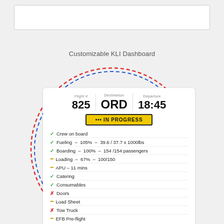[Figure (other): White rectangle box at top of page]
Customizable KLI Dashboard
[Figure (infographic): Circular dashed border (red and blue dashed lines) surrounding a flight dashboard card showing Flight 825 to ORD departing 18:45, status IN PROGRESS, with checklist items: Crew on board (check), Fueling - 105% - 39.6/37.7 x 1000lbs (check), Boarding - 100% - 154/154 passengers (check), Loading - 67% - 100/150 (dots), APU - 11 mins (dots), Catering (check), Consumables (check), Doors (cross), Load Sheet (dots), Tow Truck (cross), EFB Pre-flight (dots)]